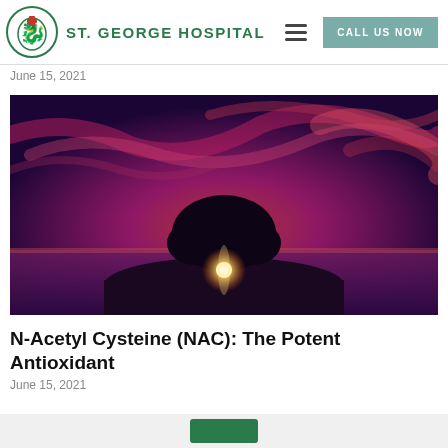St. George Hospital
June 15, 2021
[Figure (photo): A lone tree silhouetted against a dramatic purple-red sunset sky, with a glowing light behind the tree trunk, over a calm water horizon.]
N-Acetyl Cysteine (NAC): The Potent Antioxidant
June 15, 2021